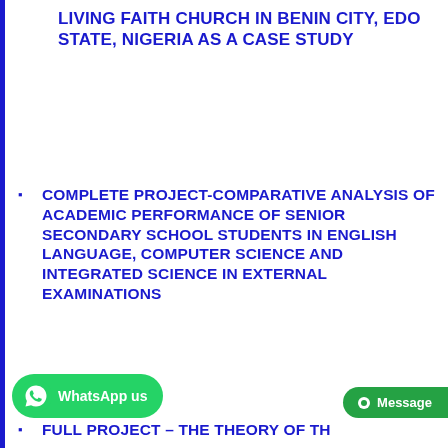LIVING FAITH CHURCH IN BENIN CITY, EDO STATE, NIGERIA AS A CASE STUDY
COMPLETE PROJECT-COMPARATIVE ANALYSIS OF ACADEMIC PERFORMANCE OF SENIOR SECONDARY SCHOOL STUDENTS IN ENGLISH LANGUAGE, COMPUTER SCIENCE AND INTEGRATED SCIENCE IN EXTERNAL EXAMINATIONS
FULL PROJECT – THE THEORY OF TH…